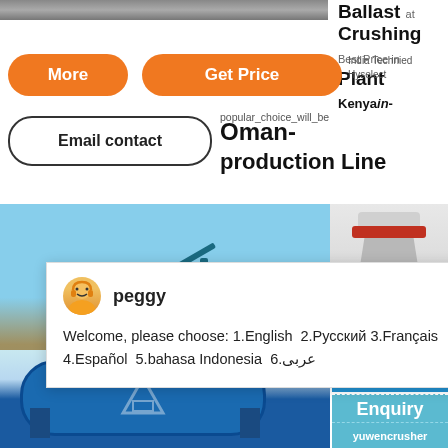[Figure (screenshot): Top image strip showing machinery/equipment in gray tones]
Ballast Crushing Plant Kenyein-
Available at Best Price in India
Technied Hyselect
More
Get Price
Email contact
Oman- popular choice will be production Line
[Figure (photo): Heavy crushing/mining equipment on rocky terrain with blue sky background]
[Figure (photo): Blue ball mill industrial grinding machine]
[Figure (photo): Cone crusher machine shown on right side panel]
1
Click me to chat>>
Enquiry
yuwencrusher
peggy
Welcome, please choose: 1.English  2.Русский 3.Français 4.Español  5.bahasa Indonesia  6.عربی